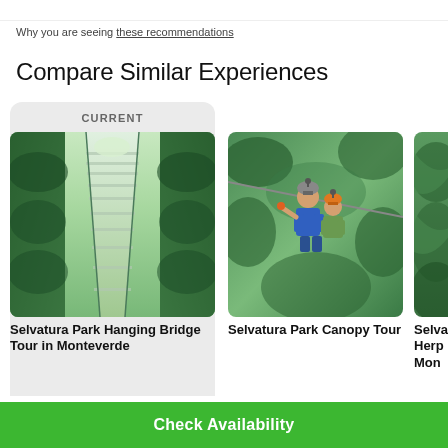Why you are seeing these recommendations
Compare Similar Experiences
[Figure (photo): Selvatura Park hanging bridge through lush green rainforest canopy]
Selvatura Park Hanging Bridge Tour in Monteverde
[Figure (photo): Adult and child zip-lining through rainforest canopy at Selvatura Park]
Selvatura Park Canopy Tour
[Figure (photo): Partial image of Selvatura Park Herp... Mon... attraction]
Selva Herp Mon
Check Availability